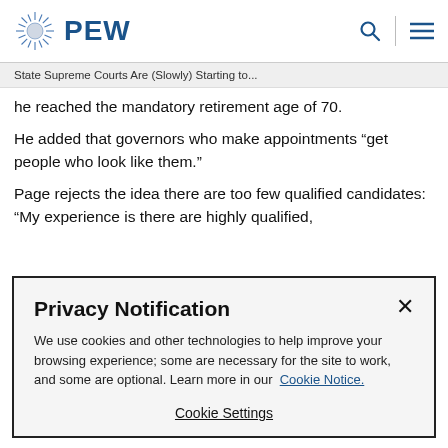PEW
State Supreme Courts Are (Slowly) Starting to...
he reached the mandatory retirement age of 70.
He added that governors who make appointments “get people who look like them.”
Page rejects the idea there are too few qualified candidates: “My experience is there are highly qualified,
Privacy Notification
We use cookies and other technologies to help improve your browsing experience; some are necessary for the site to work, and some are optional. Learn more in our Cookie Notice.
Cookie Settings